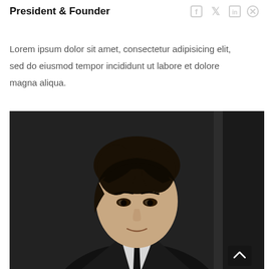President & Founder
Lorem ipsum dolor sit amet, consectetur adipisicing elit, sed do eiusmod tempor incididunt ut labore et dolore magna aliqua.
[Figure (photo): Professional headshot of a young Asian man with dark hair wearing a dark suit and tie, posed against a dark textured wall background.]